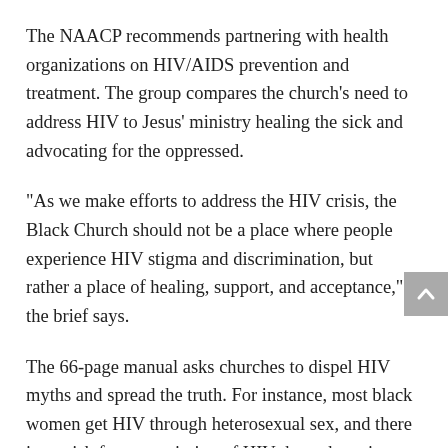The NAACP recommends partnering with health organizations on HIV/AIDS prevention and treatment. The group compares the church’s need to address HIV to Jesus’ ministry healing the sick and advocating for the oppressed.
“As we make efforts to address the HIV crisis, the Black Church should not be a place where people experience HIV stigma and discrimination, but rather a place of healing, support, and acceptance,” the brief says.
The 66-page manual asks churches to dispel HIV myths and spread the truth. For instance, most black women get HIV through heterosexual sex, and there is no risk for transmission of HIV through testing.
“Regardless of our church activity or engagement, as